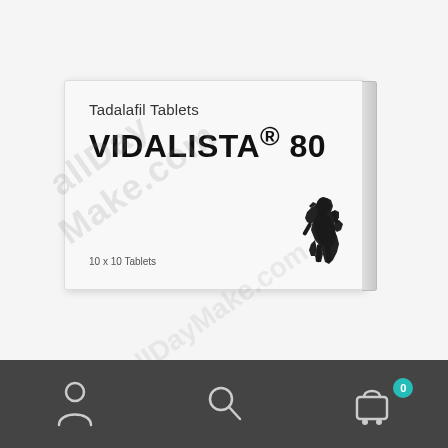[Figure (photo): Product photo of Vidalista 80 Tadalafil Tablets medicine box, white box with horse logo, showing '10 x 10 Tablets', with a watermark reading 'allDayMake.com' overlaid diagonally]
Vidalista 80 MG